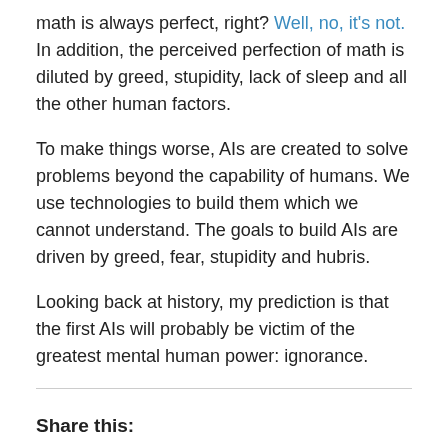math is always perfect, right? Well, no, it's not. In addition, the perceived perfection of math is diluted by greed, stupidity, lack of sleep and all the other human factors.
To make things worse, AIs are created to solve problems beyond the capability of humans. We use technologies to build them which we cannot understand. The goals to build AIs are driven by greed, fear, stupidity and hubris.
Looking back at history, my prediction is that the first AIs will probably be victim of the greatest mental human power: ignorance.
Share this:
Email  Print